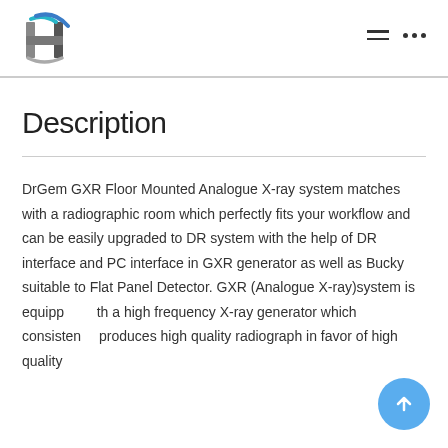HPharmaceuticals logo with navigation icons
Description
DrGem GXR Floor Mounted Analogue X-ray system matches with a radiographic room which perfectly fits your workflow and can be easily upgraded to DR system with the help of DR interface and PC interface in GXR generator as well as Bucky suitable to Flat Panel Detector. GXR (Analogue X-ray)system is equipped with a high frequency X-ray generator which consistently produces high quality radiograph in favor of high quality